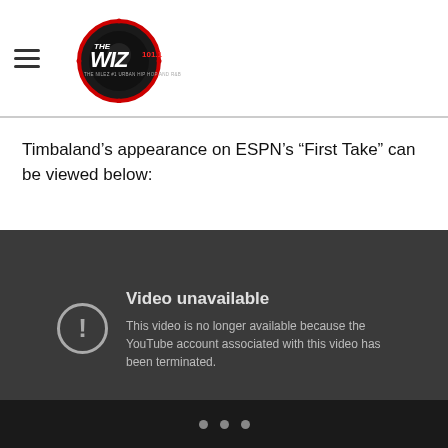The Wiz 101.1 – Logo and navigation
Timbaland’s appearance on ESPN’s “First Take” can be viewed below:
[Figure (screenshot): Embedded YouTube video player showing 'Video unavailable' message. Text reads: 'This video is no longer available because the YouTube account associated with this video has been terminated.']
• • •